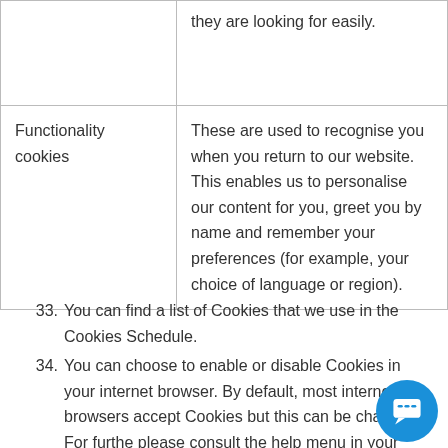|  | they are looking for easily. |
| Functionality cookies | These are used to recognise you when you return to our website. This enables us to personalise our content for you, greet you by name and remember your preferences (for example, your choice of language or region). |
33. You can find a list of Cookies that we use in the Cookies Schedule.
34. You can choose to enable or disable Cookies in your internet browser. By default, most internet browsers accept Cookies but this can be changed. For further please consult the help menu in your internet browser.